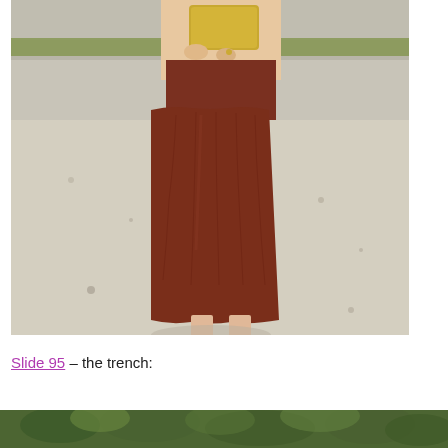[Figure (photo): Woman wearing a rust/brick-red gathered midi skirt and dark chunky-heeled Mary Jane shoes, holding a yellow accessory, standing on a sandy/gravelly surface with a concrete wall in background.]
Slide 95 – the trench:
[Figure (photo): Partial view of a second photo at the bottom of the page showing green foliage/trees.]